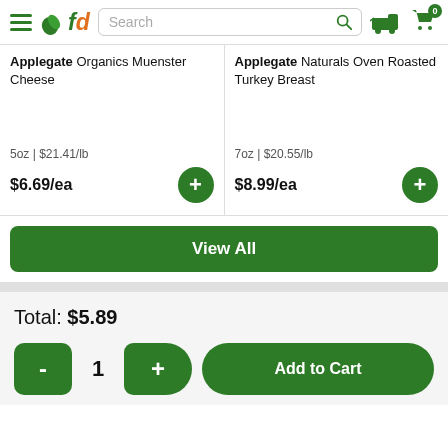fd - Search bar - Truck and Cart icons
Applegate Organics Muenster Cheese
5oz | $21.41/lb
$6.69/ea
Applegate Naturals Oven Roasted Turkey Breast
7oz | $20.55/lb
$8.99/ea
View All
Total: $5.89
- 1 + Add to Cart